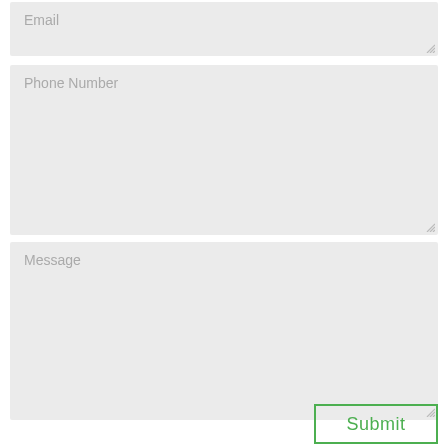Email
Phone Number
Message
Submit